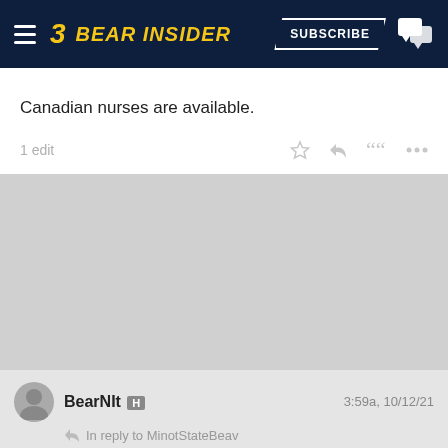Bear Insider — SUBSCRIBE
Canadian nurses are available.
1 edit
BearNIt H   3:59a, 10/12/21
In reply to MinotStateBeav